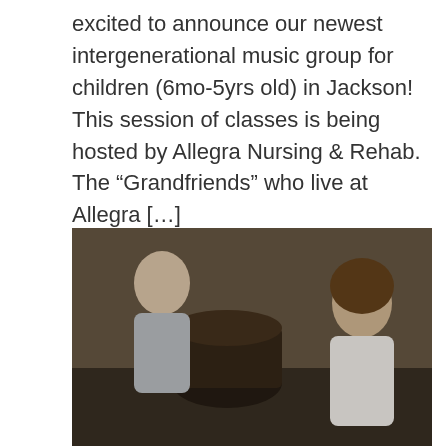excited to announce our newest intergenerational music group for children (6mo-5yrs old) in Jackson! This session of classes is being hosted by Allegra Nursing & Rehab. The “Grandfriends” who live at Allegra [...]
[Figure (photo): Children participating in a music group session. A smiling blonde girl in a white t-shirt stands in the center clapping her hands. Other children and young people are visible around her, with drums and percussion instruments in the background. The setting appears to be an indoor room with warm lighting.]